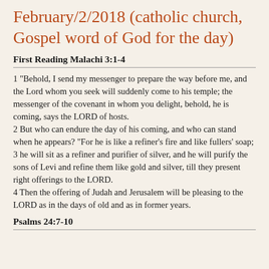February/2/2018 (catholic church, Gospel word of God for the day)
First Reading Malachi 3:1-4
1 "Behold, I send my messenger to prepare the way before me, and the Lord whom you seek will suddenly come to his temple; the messenger of the covenant in whom you delight, behold, he is coming, says the LORD of hosts.
2 But who can endure the day of his coming, and who can stand when he appears? "For he is like a refiner's fire and like fullers' soap;
3 he will sit as a refiner and purifier of silver, and he will purify the sons of Levi and refine them like gold and silver, till they present right offerings to the LORD.
4 Then the offering of Judah and Jerusalem will be pleasing to the LORD as in the days of old and as in former years.
Psalms 24:7-10